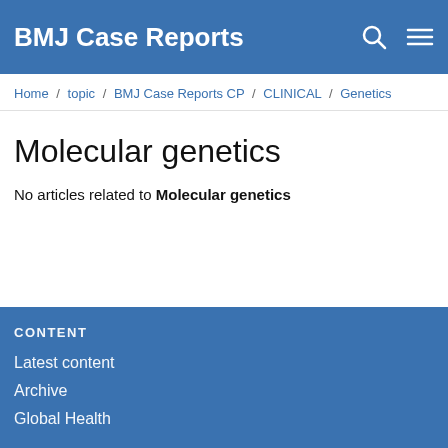BMJ Case Reports
Home / topic / BMJ Case Reports CP / CLINICAL / Genetics
Molecular genetics
No articles related to Molecular genetics
CONTENT
Latest content
Archive
Global Health